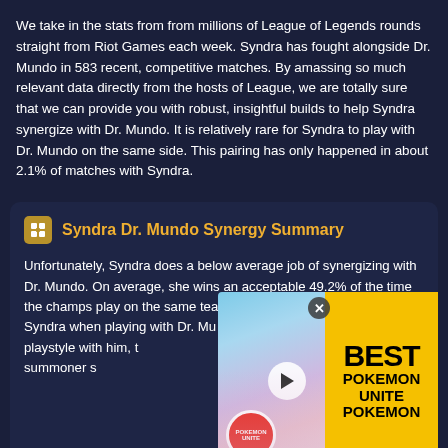We take in the stats from from millions of League of Legends rounds straight from Riot Games each week. Syndra has fought alongside Dr. Mundo in 583 recent, competitive matches. By amassing so much relevant data directly from the hosts of League, we are totally sure that we can provide you with robust, insightful builds to help Syndra synergize with Dr. Mundo. It is relatively rare for Syndra to play with Dr. Mundo on the same side. This pairing has only happened in about 2.1% of matches with Syndra.
Syndra Dr. Mundo Synergy Summary
Unfortunately, Syndra does a below average job of synergizing with Dr. Mundo. On average, she wins an acceptable 49.2% of the time the champs play on the same team. If you want to play better as Syndra when playing with Dr. Mundo, and to better synergize your playstyle with him, then read on for the best build (with items, runes, summoner s...
[Figure (screenshot): Video overlay advertisement for Best Pokemon Unite Pokemon, partially covering the synergy summary text. Shows a play button and game characters.]
Best Syndra Dr. Mundo Sy...
Items...
[Figure (screenshot): Advertisement banner for Tally: Fast credit card payoff with Download Now button.]